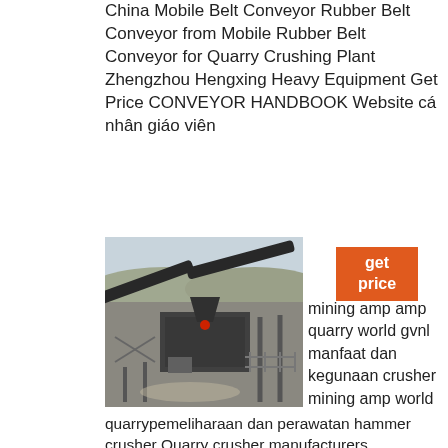China Mobile Belt Conveyor Rubber Belt Conveyor from Mobile Rubber Belt Conveyor for Quarry Crushing Plant Zhengzhou Hengxing Heavy Equipment Get Price CONVEYOR HANDBOOK Website cá nhân giáo viên
[Figure (photo): Photograph of a quarry crushing plant with heavy industrial machinery, belt conveyors, and crushing equipment against a hilly background.]
get price
mining amp amp quarry world gvnl manfaat dan kegunaan crusher mining amp world
quarrypemeliharaan dan perawatan hammer crusher Quarry crusher manufacturers arcrushmining mining crush perawatan pemeliharaan dan perawatan hammer crusher mining amp amp quarry world International Quarry Amp Crusher grinding mill equipmentA